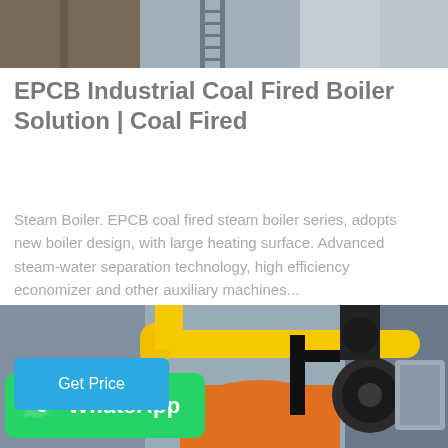[Figure (photo): Top portion of an industrial boiler or industrial equipment with metal structures and ladders visible]
EPCB Industrial Coal Fired Boiler Solution | Coal Fired
Steam Boiler. EPCB coal fired steam boiler series, adopts new boiler design, with large heating surface. Advanced steam-water separation technology, high efficiency economizer and other auxiliary machines...
[Figure (photo): Industrial boiler room interior showing yellow pipes, orange boiler components, and black valves/fittings against a grey wall]
[Figure (logo): WhatsApp logo badge — green rounded rectangle with white WhatsApp phone icon and white bold text 'WhatsApp']